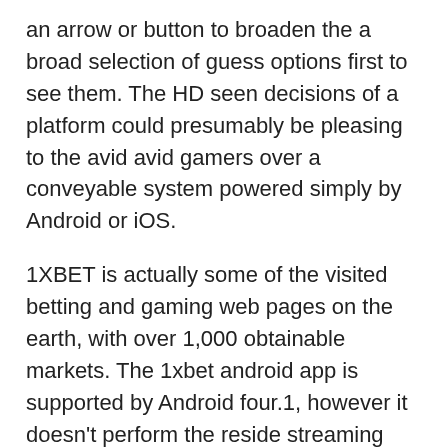an arrow or button to broaden the a broad selection of guess options first to see them. The HD seen decisions of a platform could presumably be pleasing to the avid avid gamers over a conveyable system powered simply by Android or iOS.
1XBET is actually some of the visited betting and gaming web pages on the earth, with over 1,000 obtainable markets. The 1xbet android app is supported by Android four.1, however it doesn't perform the reside streaming facility. On the web page, merely click on on the coefficient that's to be entered inside the coupon. Within 36 a quantity of hours from the second of depositing funds, a bonus shall be charged. You should use bonuses at 1xBet logon Ghana inside 31 days and nights from the second you obtain it. If you'll put the categorical in account betting company, get it